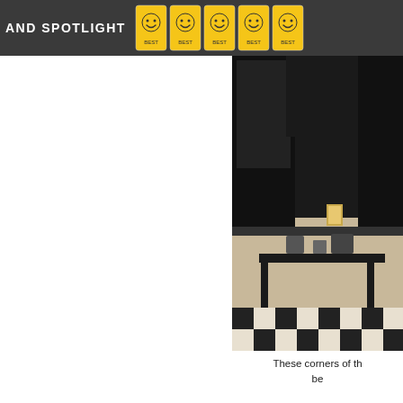AND SPOTLIGHT
[Figure (photo): Interior photo of a room with dark wooden furniture, a table with items on it, and a black and white checkerboard tile floor. Dark cabinets and shelving visible in the background.]
These corners of th... be...